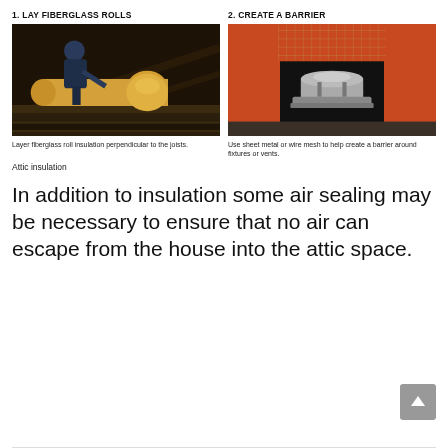1. LAY FIBERGLASS ROLLS
[Figure (photo): Worker laying fiberglass roll insulation in attic, perpendicular to joists]
Layer fiberglass roll insulation perpendicular to the joists.
2. CREATE A BARRIER
[Figure (photo): Sheet metal or wire mesh barrier around a light fixture or vent, surrounded by pink fiberglass insulation]
Use sheet metal or wire mesh to help create a barrier around fixtures or vents.
Attic insulation
In addition to insulation some air sealing may be necessary to ensure that no air can escape from the house into the attic space.